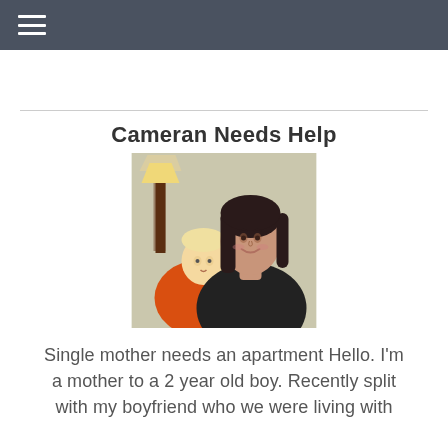≡ (navigation menu icon)
Cameran Needs Help
[Figure (photo): A young woman with dark hair wearing a black top, with a toddler boy in an orange shirt leaning against her, photographed indoors near a lamp.]
Single mother needs an apartment Hello. I'm a mother to a 2 year old boy. Recently split with my boyfriend who we were living with